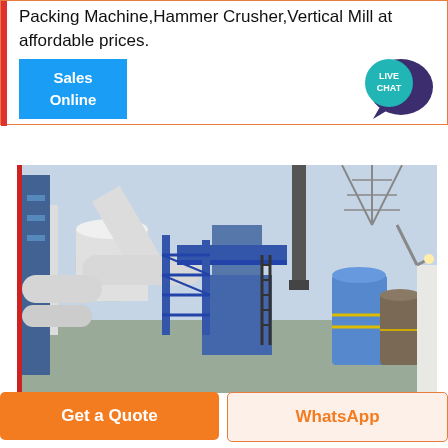Packing Machine,Hammer Crusher,Vertical Mill at affordable prices.
[Figure (illustration): Blue 'Sales Online' button and Live Chat icon on right side]
[Figure (photo): Industrial facility with blue steel structures, large white pipes and ducts, storage tanks, and overcast sky background]
Get a Quote
WhatsApp